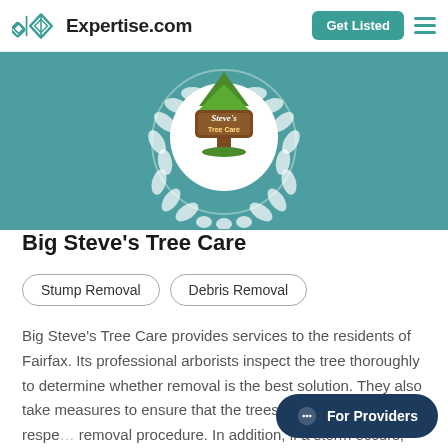Expertise.com
[Figure (logo): Big Steve's Tree Care logo with laurel wreath on teal banner background]
Big Steve's Tree Care
Stump Removal
Debris Removal
Big Steve's Tree Care provides services to the residents of Fairfax. Its professional arborists inspect the tree thoroughly to determine whether removal is the best solution. They also take measures to ensure that the trees are treated with respect during the removal procedure. In addition, if a storm occurs, the